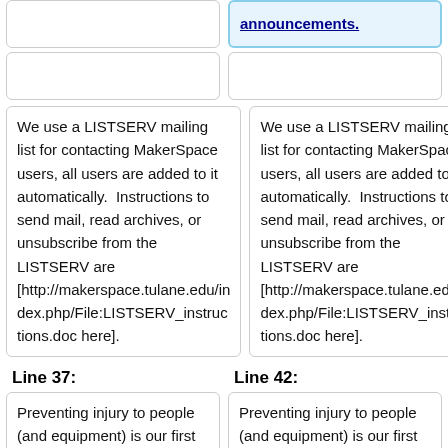[announcements.]
We use a LISTSERV mailing list for contacting MakerSpace users, all users are added to it automatically.  Instructions to send mail, read archives, or unsubscribe from the LISTSERV are [http://makerspace.tulane.edu/index.php/File:LISTSERV_instructions.doc here].
We use a LISTSERV mailing list for contacting MakerSpace users, all users are added to it automatically.  Instructions to send mail, read archives, or unsubscribe from the LISTSERV are [http://makerspace.tulane.edu/index.php/File:LISTSERV_instructions.doc here].
Line 37:
Line 42:
Preventing injury to people (and equipment) is our first priority. To do this, users must demonstrate knowledge and competence. Users can earn a
Preventing injury to people (and equipment) is our first priority. To do this, users must demonstrate knowledge and competence. Users can earn a